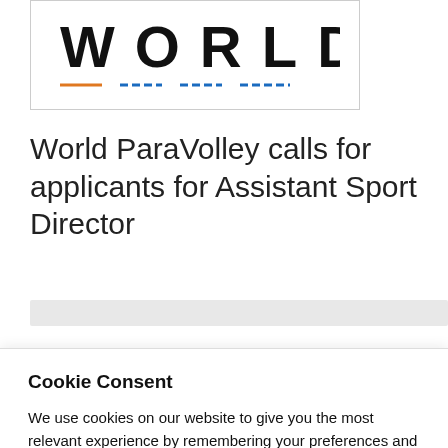[Figure (logo): World ParaVolley logo showing the word WORLD in large bold letters with colored underlines beneath each letter]
World ParaVolley calls for applicants for Assistant Sport Director
[Figure (screenshot): Partial gray navigation bar partially visible]
Cookie Consent
We use cookies on our website to give you the most relevant experience by remembering your preferences and repeat visits.
By clicking “Accept All”, you consent to the use of ALL the cookies. Read More
However, you may visit "Cookie Settings" to provide a controlled consent.